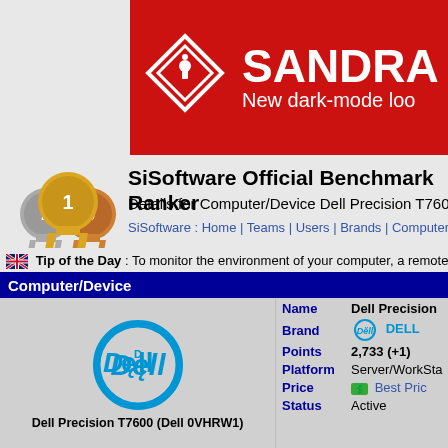[Figure (logo): SANDRA 20 software banner with red background, white diamond icon with 'i', large text 'SANDRA 20' and subtitle 'New dark-mode loo']
[Figure (illustration): Award ribbon icons showing 1st, 2nd, 3rd place medals in gold, silver, bronze]
SiSoftware Official Benchmark Ranker
Details for Computer/Device Dell Precision T7600 (D
SiSoftware : Home | Teams | Users | Brands | Computers/Devi
Tip of the Day : To monitor the environment of your computer, a remote
Computer/Device
[Figure (logo): Dell circular logo in teal/cyan color]
Dell Precision T7600 (Dell 0VHRW1)
| Field | Value |
| --- | --- |
| Name | Dell Precision |
| Brand | DELL |
| Points | 2,733 (+1) |
| Platform | Server/WorkSta |
| Price | Best Pric |
| Status | Active |